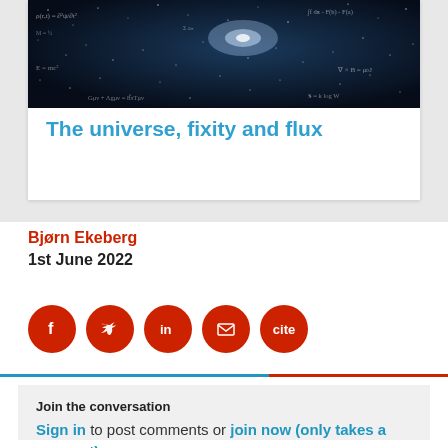[Figure (photo): Dark space/astronomy image with mathematical formulas written over it, showing a galaxy]
The universe, fixity and flux
Bjørn Ekeberg
1st June 2022
[Figure (infographic): Social sharing buttons: Facebook, Twitter, LinkedIn, Email, Cite — all red circular icons]
Join the conversation
Sign in to post comments or join now (only takes a moment).